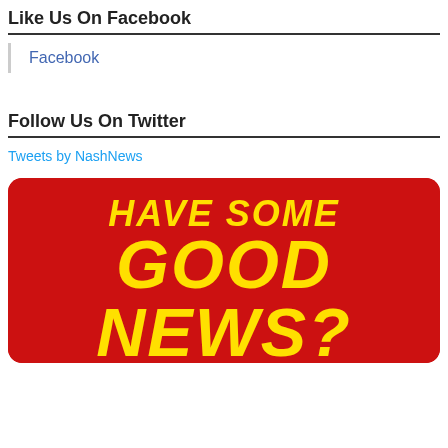Like Us On Facebook
Facebook
Follow Us On Twitter
Tweets by NashNews
[Figure (photo): Red banner image with yellow bold text reading 'HAVE SOME GOOD NEWS?' in a retro slab-serif font on a red rounded-rectangle background]